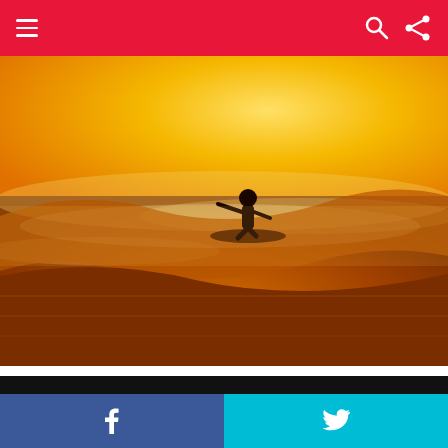Navigation bar with hamburger menu, search and share icons
[Figure (photo): A silhouette of a surfer riding a large wave at golden hour/sunset, with warm orange and yellow tones dominating the image]
#51. Cuddling in bed and falling asleep is probably the best feeling in a relationship”